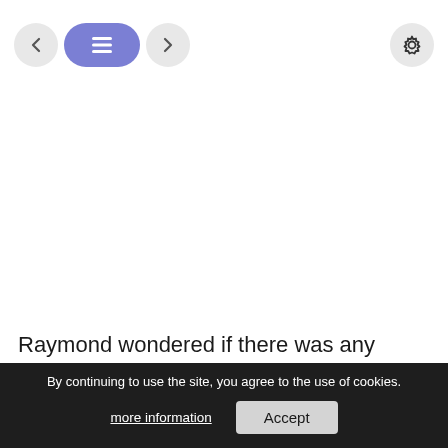[Figure (screenshot): Navigation bar with back arrow button, active list/menu button (blue/purple pill shape), forward arrow button on the left, and a gear/settings button on the right]
Raymond wondered if there was any other story he didn't know...
"What on earth..."
By continuing to use the site, you agree to the use of cookies. more information  Accept